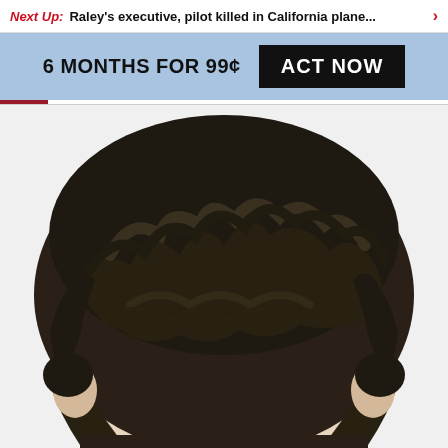Next Up: Raley's executive, pilot killed in California plane... >
6 MONTHS FOR 99¢  ACT NOW
[Figure (photo): Close-up photo of a person's head showing dark curly/wavy hair and forehead, cropped so that the face is mostly cut off at the bottom of the frame.]